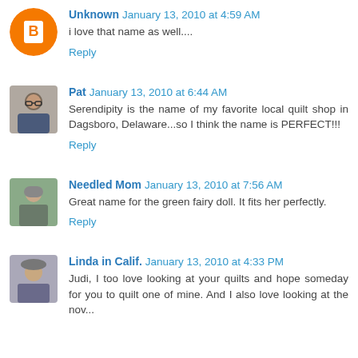[Figure (photo): Blogger default avatar - orange circle with white B letter]
Unknown January 13, 2010 at 4:59 AM
i love that name as well....
Reply
[Figure (photo): Profile photo of Pat - person with glasses]
Pat January 13, 2010 at 6:44 AM
Serendipity is the name of my favorite local quilt shop in Dagsboro, Delaware...so I think the name is PERFECT!!!
Reply
[Figure (photo): Profile photo of Needled Mom - elderly person outdoors]
Needled Mom January 13, 2010 at 7:56 AM
Great name for the green fairy doll. It fits her perfectly.
Reply
[Figure (photo): Profile photo of Linda in Calif. - person with hat]
Linda in Calif. January 13, 2010 at 4:33 PM
Judi, I too love looking at your quilts and hope someday for you to quilt one of mine. And I also love looking at the nov...